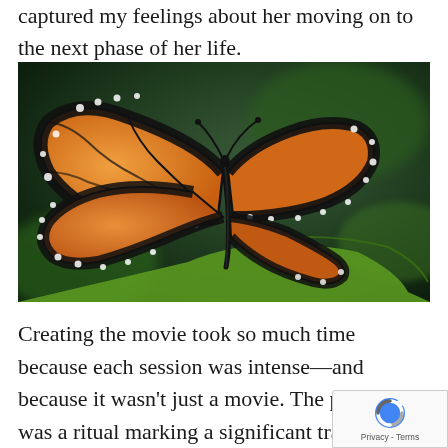captured my feelings about her moving on to the next phase of her life.
[Figure (photo): Close-up photograph of a monarch butterfly with orange and black patterned wings, perched on a green leaf, against a blurred dark green background.]
Creating the movie took so much time because each session was intense—and because it wasn't just a movie. The process was a ritual marking a significant transition. Every time I down to work on it, I wept. Of course, I was